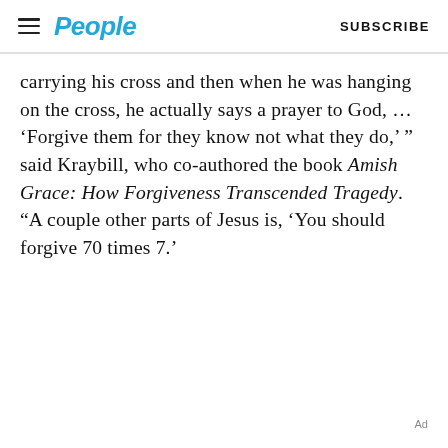People | SUBSCRIBE
carrying his cross and then when he was hanging on the cross, he actually says a prayer to God, … ‘Forgive them for they know not what they do,’ ” said Kraybill, who co-authored the book Amish Grace: How Forgiveness Transcended Tragedy. “A couple other parts of Jesus is, ‘You should forgive 70 times 7.’
Ad